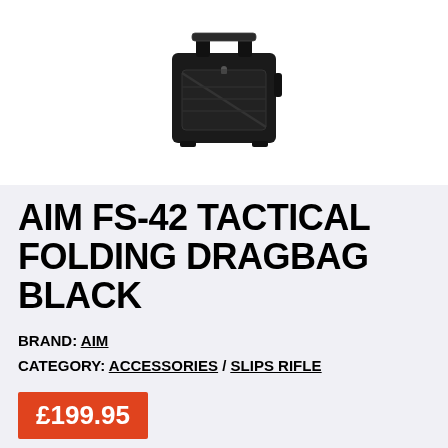[Figure (photo): Black tactical folding drag bag (AIM FS-42) photographed from above/front angle against white background]
AIM FS-42 TACTICAL FOLDING DRAGBAG BLACK
BRAND: AIM
CATEGORY: ACCESSORIES / SLIPS RIFLE
£199.95
The new specialist FS-42 bag from AIM has been developed in conjunction with leading rifle